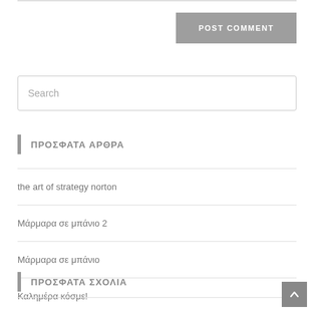POST COMMENT
Search
ΠΡΟΣΦΑΤΑ ΑΡΘΡΑ
the art of strategy norton
Μάρμαρα σε μπάνιο 2
Μάρμαρα σε μπάνιο
Καλημέρα κόσμε!
ΠΡΟΣΦΑΤΑ ΣΧΟΛΙΑ